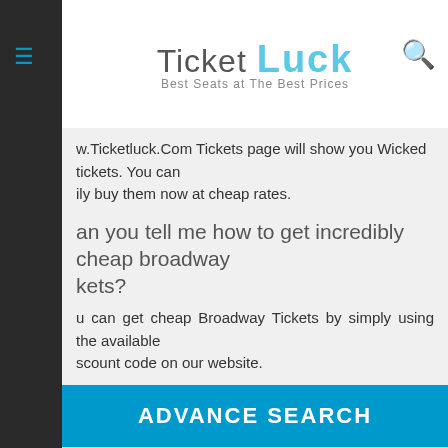Ticket Luck — Best Seats at The Best Prices
w.Ticketluck.Com Tickets page will show you Wicked tickets. You can ily buy them now at cheap rates.
an you tell me how to get incredibly cheap broadway kets?
u can get cheap Broadway Tickets by simply using the available scount code on our website.
ADVANCE SEARCH
TYPE EVENT
SELECT CITY
SELECT VENUE
All Available Dates